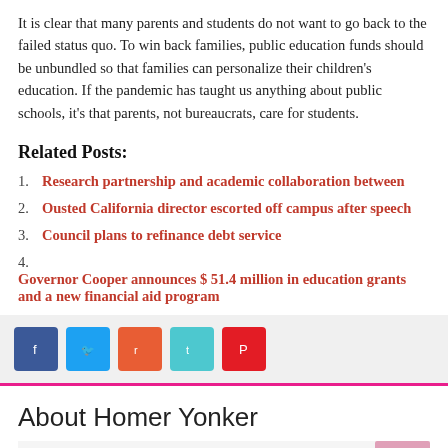It is clear that many parents and students do not want to go back to the failed status quo. To win back families, public education funds should be unbundled so that families can personalize their children's education. If the pandemic has taught us anything about public schools, it's that parents, not bureaucrats, care for students.
Related Posts:
1. Research partnership and academic collaboration between
2. Ousted California director escorted off campus after speech
3. Council plans to refinance debt service
4. Governor Cooper announces $ 51.4 million in education grants and a new financial aid program
[Figure (other): Social share buttons: Facebook (blue), Twitter (light blue), Reddit (orange-red), Telegram (teal), Pinterest (red)]
About Homer Yonker